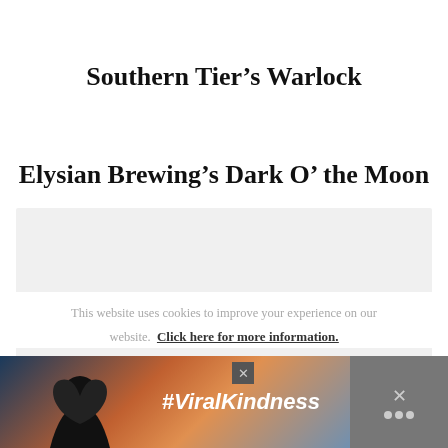Southern Tier’s Warlock
Elysian Brewing’s Dark O’ the Moon
[Figure (photo): Light gray placeholder image area below the section header]
This website uses cookies to improve your experience on our website. Click here for more information.
[Figure (photo): Advertisement banner at bottom: dark background with silhouette of hands forming heart shape, text #ViralKindness, close button and side panel with X icon]